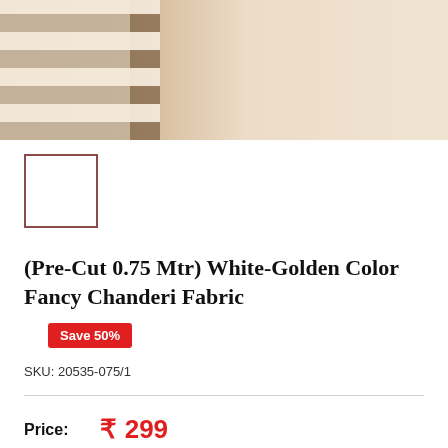[Figure (photo): Product photo of white-golden color fancy chanderi fabric with horizontal stripes in beige and white tones]
[Figure (photo): Small thumbnail image of the fabric, selected state shown with dark red border]
(Pre-Cut 0.75 Mtr) White-Golden Color Fancy Chanderi Fabric
Save 50%
SKU: 20535-075/1
Price: ₹ 299